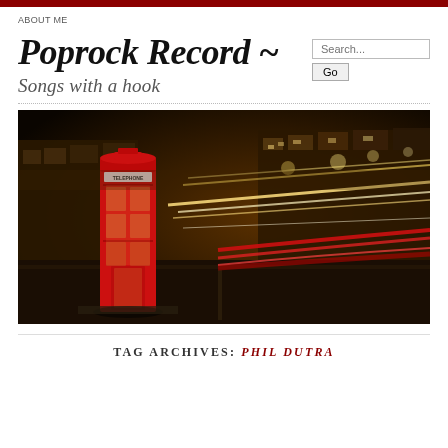ABOUT ME
Poprock Record ~
Songs with a hook
[Figure (photo): Night photograph of a red British telephone box on a busy London street with long-exposure light trails from traffic creating streaks of red and yellow light.]
TAG ARCHIVES: PHIL DUTRA